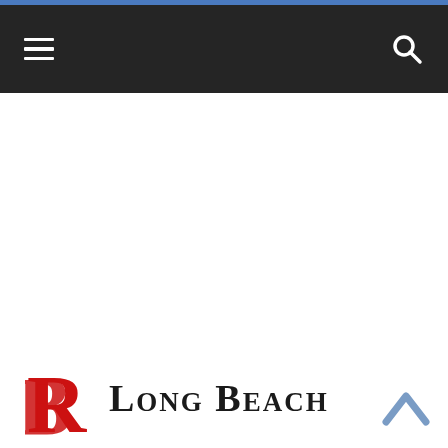Navigation bar with hamburger menu and search icon
[Figure (logo): Long Beach publication logo with red ornamental R lettermark and 'Long Beach' text in small-caps serif font]
[Figure (other): Back to top chevron arrow icon in blue, bottom right corner]